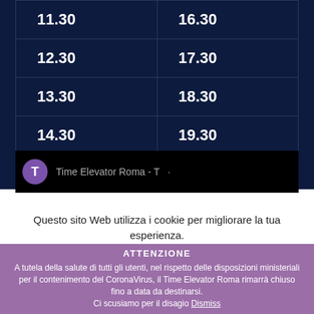| 11.30 | 16.30 |
| 12.30 | 17.30 |
| 13.30 | 18.30 |
| 14.30 | 19.30 |
[Figure (screenshot): Black panel with purple avatar circle showing 'T' and partial text 'Time Elevator Roma - T']
Questo sito Web utilizza i cookie per migliorare la tua esperienza. Puoi conoscere i dettagli consultando la nostra
ATTENZIONE A tutela della salute di tutti gli utenti, nel rispetto delle disposizioni ministeriali per il contenimento del CoronaVirus, il Time Elevator Roma rimarrà chiuso fino a data da destinarsi. Ci scusiamo per il disagio Dismiss